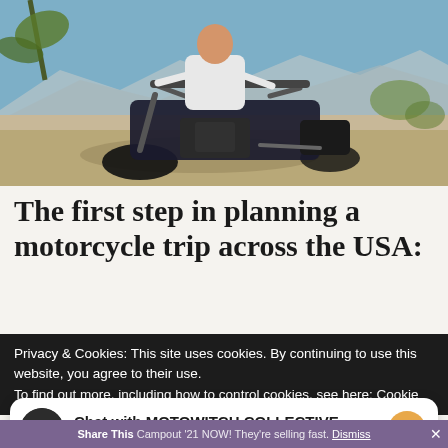[Figure (photo): Person sitting on a dark blue/black Harley-Davidson motorcycle in a desert landscape with mountains in the background and sparse desert vegetation. The rider is wearing a white t-shirt.]
The first step in planning a motorcycle trip across the USA:
Privacy & Cookies: This site uses cookies. By continuing to use this website, you agree to their use.
To find out more, including how to control cookies, see here: Cookie
Chat with MOTOWITCH COLLECTIVE
Hi! How can we help you?
Share This Campout '21 NOW! They're selling fast. Dismiss